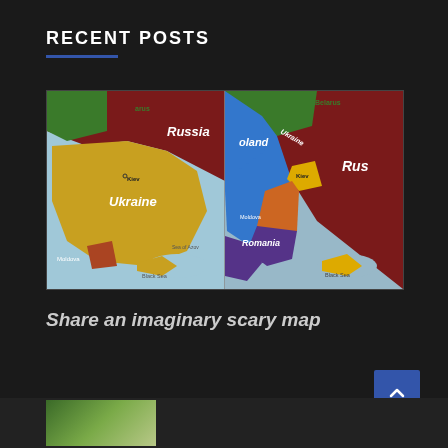RECENT POSTS
[Figure (map): Side-by-side comparison of two maps of Ukraine and surrounding region. Left map shows Ukraine in yellow with label 'Ukraine', capital 'Kiev' marked, surrounded by Russia (dark red), Belarus (green), Moldova (orange-red), and Black Sea/Sea of Azov. Right map shows an alternate version with Ukraine in blue, Kiev area in yellow, Poland in blue, Romania in purple, Russia in dark red, Belarus in green. Labels include Russia, Ukraine, Belarus, Poland, Romania, Kiev, Black Sea, Sea of Azov, Rus (partially visible).]
Share an imaginary scary map